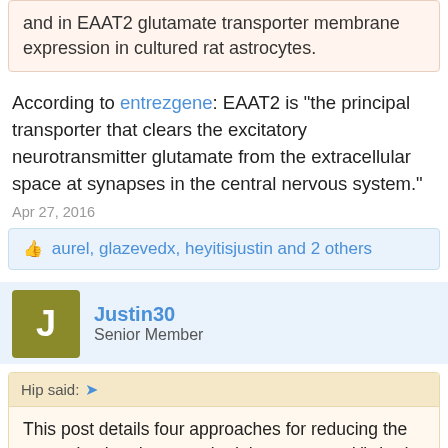and in EAAT2 glutamate transporter membrane expression in cultured rat astrocytes.
According to entrezgene: EAAT2 is "the principal transporter that clears the excitatory neurotransmitter glutamate from the extracellular space at synapses in the central nervous system."
Apr 27, 2016
aurel, glazevedx, heyitisjustin and 2 others
Justin30
Senior Member
Hip said:
This post details four approaches for reducing the over-stimulated, over-exited, hyperaroused "wired but tired" mental state that is often found in ME/CFS.

This feeling of "wired but tired" is specifically mentioned in